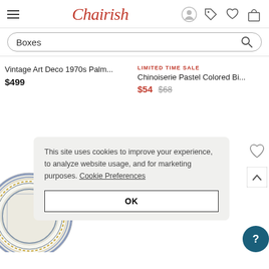Chairish — navigation header with hamburger menu, logo, account, tag, heart, and bag icons
Boxes (search query)
Vintage Art Deco 1970s Palm...
$499
LIMITED TIME SALE
Chinoiserie Pastel Colored Bi...
$54  $68
[Figure (photo): Decorative blue and white plate partially visible at bottom-left]
This site uses cookies to improve your experience, to analyze website usage, and for marketing purposes. Cookie Preferences
OK